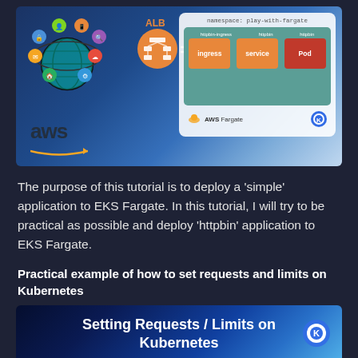[Figure (infographic): EKS Fargate architecture diagram showing AWS logo, globe with services icons, ALB load balancer, arrow pointing to a Kubernetes namespace box containing httpbin-ingress (ingress), httpbin (service), and httpbin (pod) components, with AWS Fargate and Kubernetes logos at bottom]
The purpose of this tutorial is to deploy a 'simple' application to EKS Fargate. In this tutorial, I will try to be practical as possible and deploy 'httpbin' application to EKS Fargate.
Practical example of how to set requests and limits on Kubernetes
[Figure (infographic): Banner image reading 'Setting Requests / Limits on Kubernetes' with a dark blue gradient background]